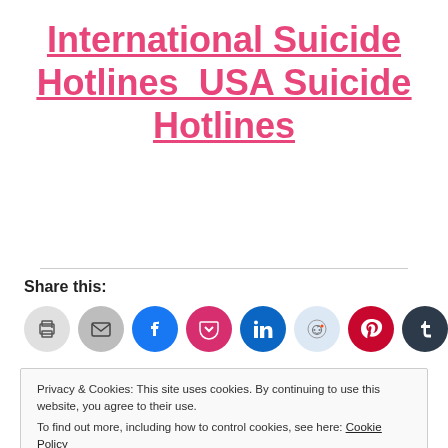International Suicide Hotlines  USA Suicide Hotlines
Share this:
[Figure (infographic): Row of circular social share buttons: print (gray), email (gray), Facebook (blue), Pocket (red), LinkedIn (dark blue), Reddit (light blue), Pinterest (dark red), Tumblr (dark navy), Twitter (light blue)]
Privacy & Cookies: This site uses cookies. By continuing to use this website, you agree to their use.
To find out more, including how to control cookies, see here: Cookie Policy
Close and accept